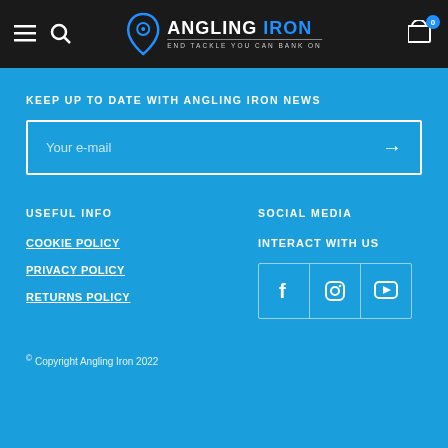Angling Iron — END TACKLE YOU CAN BANK ON
KEEP UP TO DATE WITH ANGLING IRON NEWS
Your e-mail
USEFUL INFO
COOKIE POLICY
PRIVACY POLICY
RETURNS POLICY
SOCIAL MEDIA
INTERACT WITH US
[Figure (other): Social media icons: Facebook, Instagram, YouTube]
© Copyright Angling Iron 2022